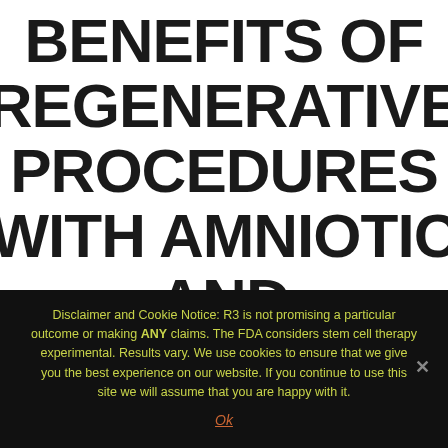BENEFITS OF REGENERATIVE PROCEDURES WITH AMNIOTIC AND UMBILICAL
Disclaimer and Cookie Notice: R3 is not promising a particular outcome or making ANY claims. The FDA considers stem cell therapy experimental. Results vary. We use cookies to ensure that we give you the best experience on our website. If you continue to use this site we will assume that you are happy with it.
Ok